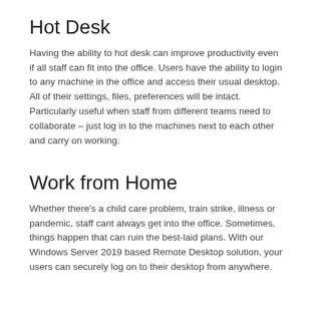Hot Desk
Having the ability to hot desk can improve productivity even if all staff can fit into the office. Users have the ability to login to any machine in the office and access their usual desktop. All of their settings, files, preferences will be intact. Particularly useful when staff from different teams need to collaborate – just log in to the machines next to each other and carry on working.
Work from Home
Whether there's a child care problem, train strike, illness or pandemic, staff cant always get into the office. Sometimes, things happen that can ruin the best-laid plans. With our Windows Server 2019 based Remote Desktop solution, your users can securely log on to their desktop from anywhere.